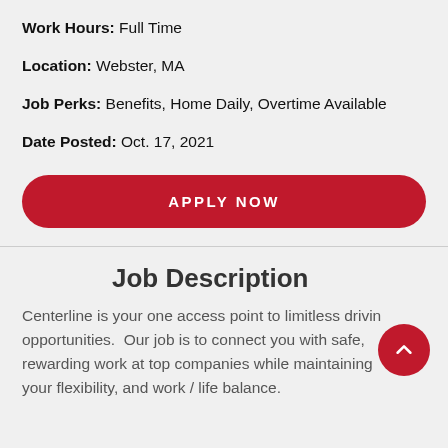Work Hours: Full Time
Location: Webster, MA
Job Perks: Benefits, Home Daily, Overtime Available
Date Posted: Oct. 17, 2021
APPLY NOW
Job Description
Centerline is your one access point to limitless driving opportunities.  Our job is to connect you with safe, rewarding work at top companies while maintaining your flexibility, and work / life balance.